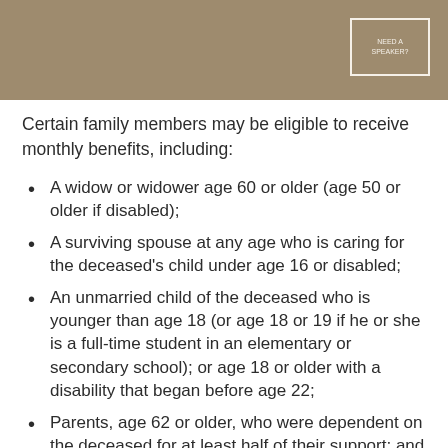Certain family members may be eligible to receive monthly benefits, including:
A widow or widower age 60 or older (age 50 or older if disabled);
A surviving spouse at any age who is caring for the deceased's child under age 16 or disabled;
An unmarried child of the deceased who is younger than age 18 (or age 18 or 19 if he or she is a full-time student in an elementary or secondary school); or age 18 or older with a disability that began before age 22;
Parents, age 62 or older, who were dependent on the deceased for at least half of their support; and
A surviving divorced spouse, under certain circumstances.
The Social Security website is a valuable resource for